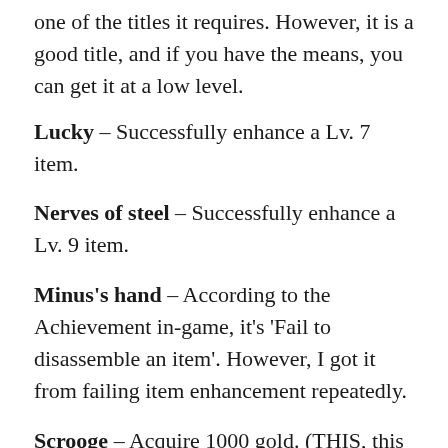one of the titles it requires. However, it is a good title, and if you have the means, you can get it at a low level.
Lucky – Successfully enhance a Lv. 7 item.
Nerves of steel – Successfully enhance a Lv. 9 item.
Minus's hand – According to the Achievement in-game, it's 'Fail to disassemble an item'. However, I got it from failing item enhancement repeatedly.
Scrooge – Acquire 1000 gold. (THIS, this is the difficult one if you're a totally new player who is not a hardcore trader. Can be made easier by passing gold around among friends though.)